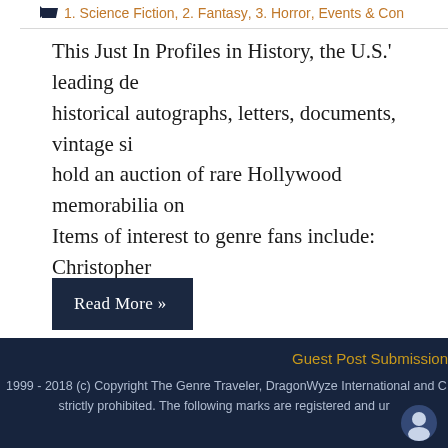1. Science Fiction, 2. Fantasy, 3. Horror, Events & Con
This Just In Profiles in History, the U.S.' leading de historical autographs, letters, documents, vintage si hold an auction of rare Hollywood memorabilia on Items of interest to genre fans include: Christopher movie One [...]
Read More »
Guest Post Submission
1999 - 2018 (c) Copyright The Genre Traveler, DragonWyze International and C strictly prohibited. The following marks are registered and ur